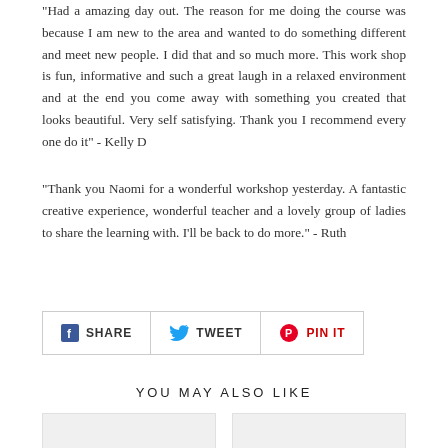"Had a amazing day out. The reason for me doing the course was because I am new to the area and wanted to do something different and meet new people. I did that and so much more. This work shop is fun, informative and such a great laugh in a relaxed environment and at the end you come away with something you created that looks beautiful. Very self satisfying. Thank you I recommend every one do it" - Kelly D
"Thank you Naomi for a wonderful workshop yesterday. A fantastic creative experience, wonderful teacher and a lovely group of ladies to share the learning with. I'll be back to do more." - Ruth
[Figure (infographic): Social sharing buttons: Facebook SHARE, Twitter TWEET, Pinterest PIN IT]
YOU MAY ALSO LIKE
[Figure (photo): Two product image placeholders side by side (light gray boxes)]